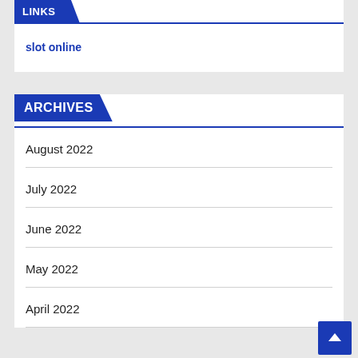LINKS
slot online
ARCHIVES
August 2022
July 2022
June 2022
May 2022
April 2022